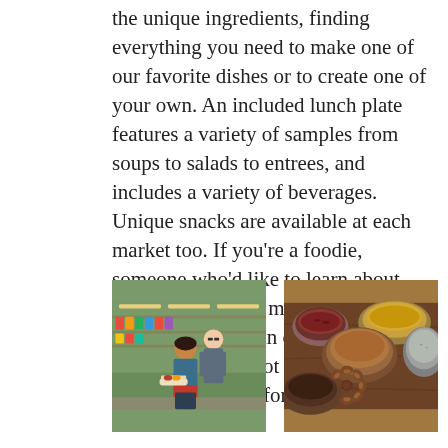the unique ingredients, finding everything you need to make one of our favorite dishes or to create one of your own. An included lunch plate features a variety of samples from soups to salads to entrees, and includes a variety of beverages. Unique snacks are available at each market too. If you're a foodie, someone who'd like to learn about ethnic markets, or maybe someone who'd love to begin cooking different ethnic foods but not sure where to start....this tour is for you!
[Figure (photo): Two people standing together in an ethnic grocery market, holding a plate of food]
[Figure (photo): Several small metal bowls containing various spices and herbs, with a star anise in the foreground]